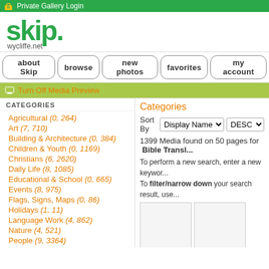Private Gallery Login
[Figure (logo): skip.wycliffe.net logo in green]
about Skip | browse | new photos | favorites | my account
Turn Off Media Preview
CATEGORIES
Agricultural (0, 264)
Art (7, 710)
Building & Architecture (0, 384)
Children & Youth (0, 1169)
Christians (6, 2620)
Daily Life (8, 1085)
Educational & School (0, 665)
Events (8, 975)
Flags, Signs, Maps (0, 86)
Holidays (1, 11)
Language Work (4, 862)
Nature (4, 521)
People (9, 3364)
Religion (3, 393)
Scenery (4, 2002)
Categories
Sort By Display Name DESC
1399 Media found on 50 pages for Bible Transl...
To perform a new search, enter a new keyword. To filter/narrow down your search result, use...